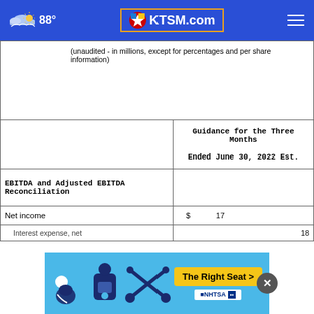KTSM.com | 88°
(unaudited - in millions, except for percentages and per share information)
|  | Guidance for the Three Months Ended June 30, 2022 Est. |
| --- | --- |
| EBITDA and Adjusted EBITDA Reconciliation |  |
| Net income | $ 17 |
| Interest expense, net | 18 |